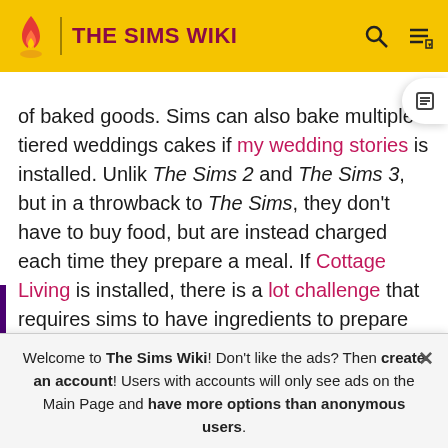THE SIMS WIKI
of baked goods. Sims can also bake multiple tiered weddings cakes if my wedding stories is installed. Unlike The Sims 2 and The Sims 3, but in a throwback to The Sims, they don't have to buy food, but are instead charged each time they prepare a meal. If Cottage Living is installed, there is a lot challenge that requires sims to have ingredients to prepare meals. Unlike the sims 3 there is no grocery store, but sims can order groceries to be delivered. Food can also be obtained by stocking a buffet table with six dishes for a price, if luxury party stuff or My Wedding Stories is installed. Like in The Sims 3, fruit
Welcome to The Sims Wiki! Don't like the ads? Then create an account! Users with accounts will only see ads on the Main Page and have more options than anonymous users.